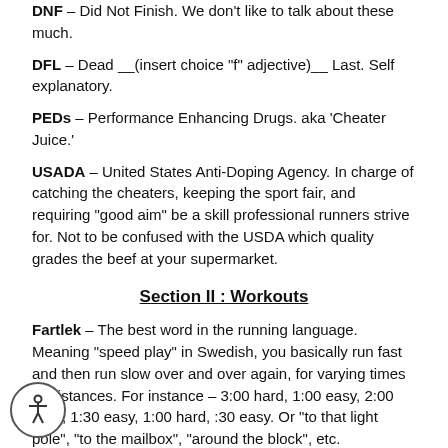DNF – Did Not Finish. We don't like to talk about these much.
DFL – Dead __(insert choice "f" adjective)__ Last. Self explanatory.
PEDs – Performance Enhancing Drugs. aka 'Cheater Juice.'
USADA – United States Anti-Doping Agency. In charge of catching the cheaters, keeping the sport fair, and requiring "good aim" be a skill professional runners strive for. Not to be confused with the USDA which quality grades the beef at your supermarket.
Section II : Workouts
Fartlek – The best word in the running language. Meaning "speed play" in Swedish, you basically run fast and then run slow over and over again, for varying times or distances. For instance – 3:00 hard, 1:00 easy, 2:00 hard, 1:30 easy, 1:00 hard, :30 easy. Or "to that light pole", "to the mailbox", "around the block", etc.